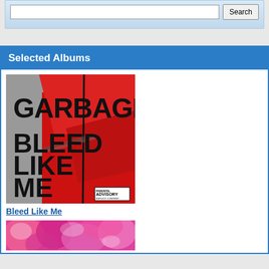[Figure (screenshot): Search box with text input field and Search button, light blue gradient background]
Selected Albums
[Figure (photo): Album cover for Garbage - Bleed Like Me. Red and grey collage with large black text reading GARBAGE on top and BLEED LIKE ME on bottom, with Parental Advisory sticker.]
Bleed Like Me
[Figure (photo): Partial view of a second album cover showing pink and magenta floral imagery.]